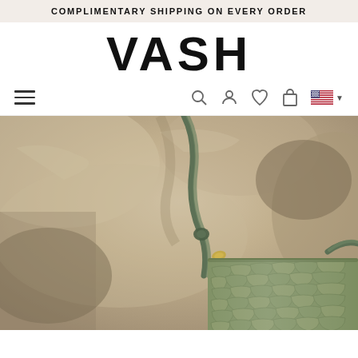COMPLIMENTARY SHIPPING ON EVERY ORDER
VASH
[Figure (screenshot): Navigation bar with hamburger menu on left and icons (search, account, wishlist, bag, US flag with dropdown) on right]
[Figure (photo): Close-up photo of an olive green crocodile-embossed leather handbag with gold hardware and a green shoulder strap, placed on a rocky surface in natural light]